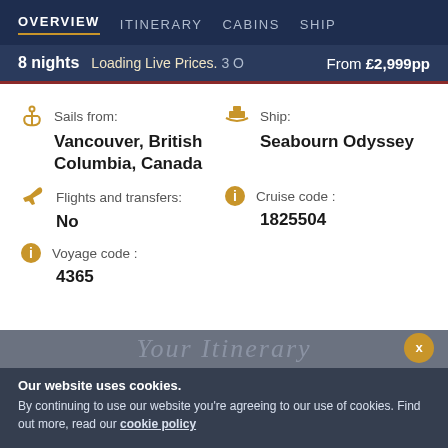OVERVIEW  ITINERARY  CABINS  SHIP
8 nights  Loading Live Prices.  From £2,999pp
Sails from:
Vancouver, British Columbia, Canada
Ship:
Seabourn Odyssey
Flights and transfers:
No
Cruise code :
1825504
Voyage code :
4365
Our website uses cookies.
By continuing to use our website you're agreeing to our use of cookies. Find out more, read our cookie policy